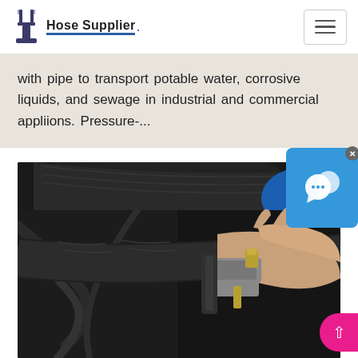Hose Supplier
with pipe to transport potable water, corrosive liquids, and sewage in industrial and commercial appliions. Pressure-...
[Figure (photo): Close-up photo of a person's hand connecting or adjusting a black rubber hose with a metal clamp in an engine bay or mechanical setting. A blue container and various hoses/components are visible in the background.]